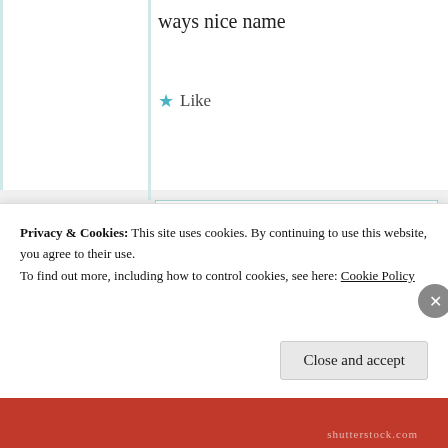ways nice name
★ Like
Suma Reddy
26th Jun 2021 at 10:08 pm
Thank you 😊
★ Like
Privacy & Cookies: This site uses cookies. By continuing to use this website, you agree to their use.
To find out more, including how to control cookies, see here: Cookie Policy
Close and accept